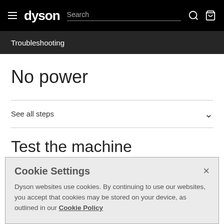dyson | Search
Troubleshooting
No power
See all steps
Test the machine
Remove all tools and accessories from the machine
Cookie Settings
Dyson websites use cookies. By continuing to use our websites, you accept that cookies may be stored on your device, as outlined in our Cookie Policy